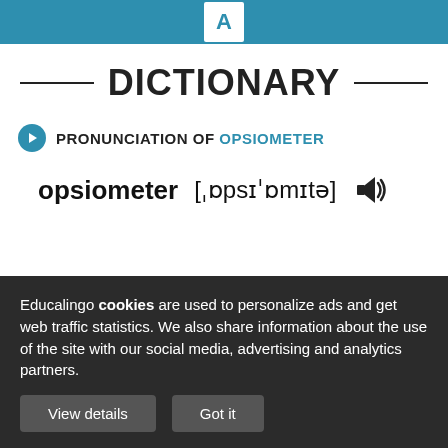A
DICTIONARY
PRONUNCIATION OF OPSIOMETER
opsiometer [ˌɒpsɪˈɒmɪtə]
Educalingo cookies are used to personalize ads and get web traffic statistics. We also share information about the use of the site with our social media, advertising and analytics partners.
View details   Got it